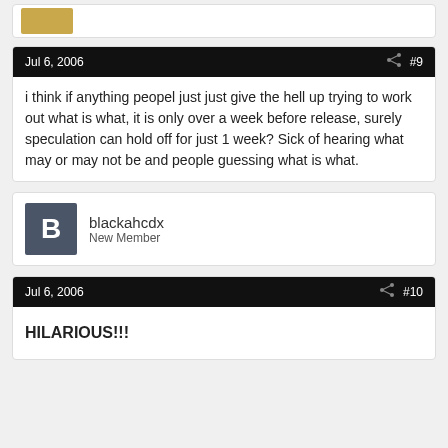[Figure (other): Partial post card showing top of a previous forum post with a small avatar image]
Jul 6, 2006
#9
i think if anything peopel just just give the hell up trying to work out what is what, it is only over a week before release, surely speculation can hold off for just 1 week? Sick of hearing what may or may not be and people guessing what is what.
[Figure (other): User avatar for blackahcdx showing large letter B on dark gray background]
blackahcdx
New Member
Jul 6, 2006
#10
HILARIOUS!!!